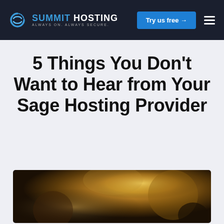SUMMIT HOSTING — ALWAYS ON. ALWAYS SECURE. | Try us free →
5 Things You Don't Want to Hear from Your Sage Hosting Provider
[Figure (photo): Blurred close-up photo with warm golden bokeh background, possibly showing a person's silhouette, used as decorative hero image for the article.]